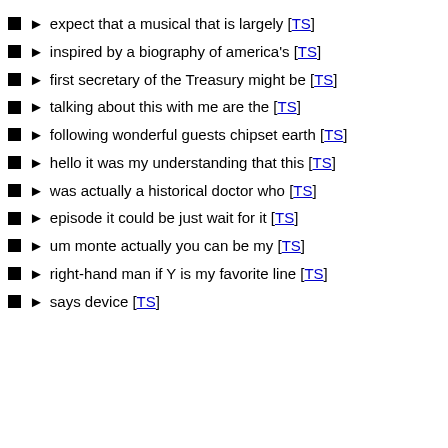expect that a musical that is largely [TS]
inspired by a biography of america's [TS]
first secretary of the Treasury might be [TS]
talking about this with me are the [TS]
following wonderful guests chipset earth [TS]
hello it was my understanding that this [TS]
was actually a historical doctor who [TS]
episode it could be just wait for it [TS]
um monte actually you can be my [TS]
right-hand man if Y is my favorite line [TS]
says device [TS]